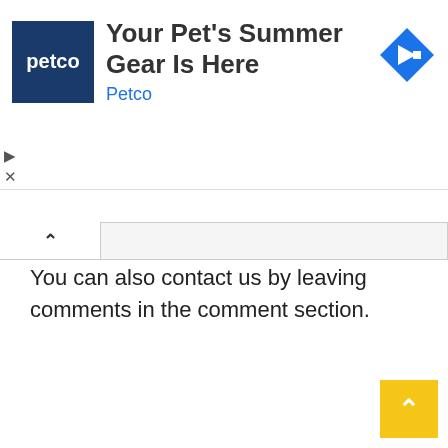[Figure (screenshot): Petco advertisement banner showing Petco logo (dark blue square with white 'petco' text), headline 'Your Pet's Summer Gear Is Here', brand name 'Petco' in blue, and a blue diamond-shaped navigation icon on the right.]
You can also contact us by leaving comments in the comment section.